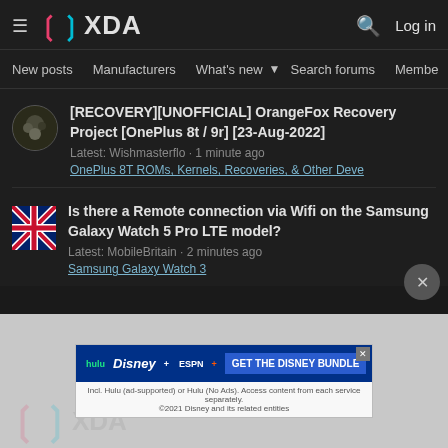XDA Developers - hamburger menu, logo, search, Log in
New posts  Manufacturers  What's new ▼  Search forums  Membe  >
[RECOVERY][UNOFFICIAL] OrangeFox Recovery Project [OnePlus 8t / 9r] [23-Aug-2022]
Latest: Wishmasterflo · 1 minute ago
OnePlus 8T ROMs, Kernels, Recoveries, & Other Deve
Is there a Remote connection via Wifi on the Samsung Galaxy Watch 5 Pro LTE model?
Latest: MobileBritain · 2 minutes ago
Samsung Galaxy Watch 3
[Figure (screenshot): Disney Bundle advertisement: hulu, Disney+, ESPN+ logos with 'GET THE DISNEY BUNDLE' call to action. Fine print: Incl. Hulu (ad-supported) or Hulu (No Ads). Access content from each service separately. ©2021 Disney and its related entities]